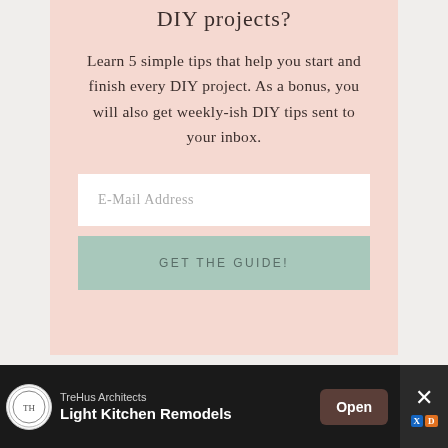DIY projects?
Learn 5 simple tips that help you start and finish every DIY project. As a bonus, you will also get weekly-ish DIY tips sent to your inbox.
E-Mail Address
GET THE GUIDE!
[Figure (infographic): Advertisement banner: TreHus Architects - Light Kitchen Remodels with Open button and close X button on dark background]